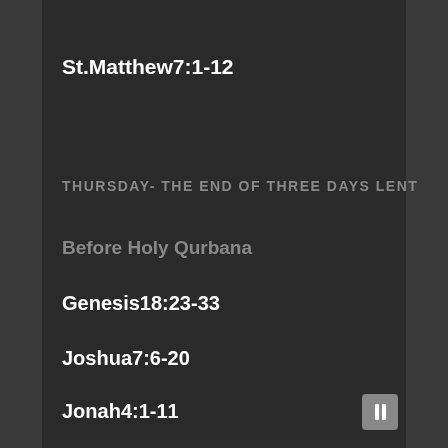St.Matthew7:1-12
THURSDAY- THE END OF THREE DAYS LENT
Before Holy Qurbana
Genesis18:23-33
Joshua7:6-20
Jonah4:1-11
Holy Qurbana